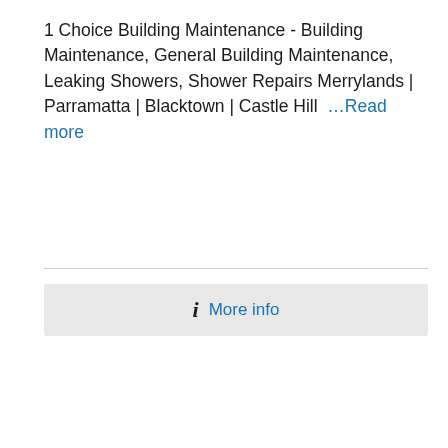1 Choice Building Maintenance - Building Maintenance, General Building Maintenance, Leaking Showers, Shower Repairs Merrylands | Parramatta | Blacktown | Castle Hill …Read more
[Figure (other): Horizontal divider line separating the text from the More info button]
ℹ More info